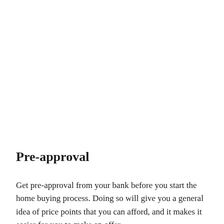Pre-approval
Get pre-approval from your bank before you start the home buying process. Doing so will give you a general idea of price points that you can afford, and it makes it easier for you to make an offer